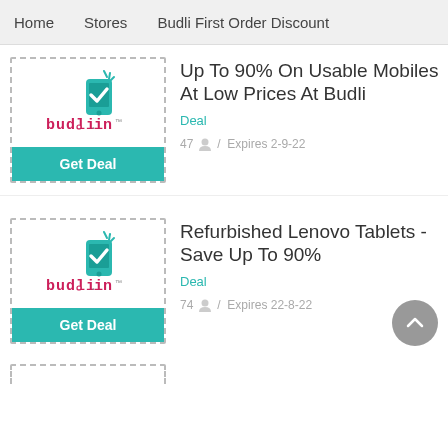Home  Stores  Budli First Order Discount
[Figure (logo): Budli.in logo with teal phone/checkmark icon and pink/red text]
Up To 90% On Usable Mobiles At Low Prices At Budli
Deal
47 / Expires 2-9-22
[Figure (logo): Budli.in logo with teal phone/checkmark icon and pink/red text]
Refurbished Lenovo Tablets - Save Up To 90%
Deal
74 / Expires 22-8-22